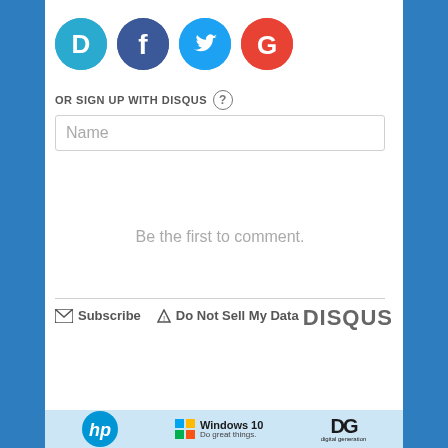[Figure (logo): Social login icons: Disqus (blue D), Facebook (dark blue f), Twitter (light blue bird), Google (red G)]
OR SIGN UP WITH DISQUS ?
Name
Be the first to comment.
Subscribe   Do Not Sell My Data   DISQUS
[Figure (logo): Advertisement banner with HP logo, Windows 10 'Do great things.' branding, and Digital Generation logo]